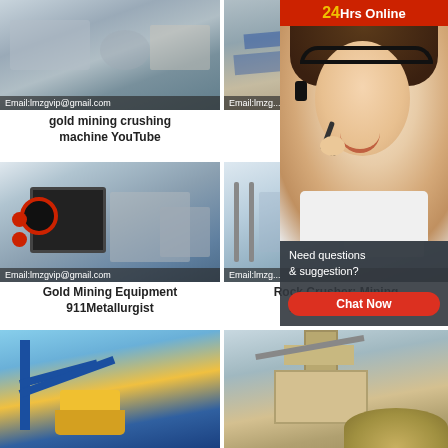[Figure (photo): Gold mining crushing machine in a factory, interior view with machinery]
gold mining crushing machine YouTube
[Figure (photo): Rock crusher / mining equipment on conveyor system, aerial view]
Rock Crusher: Mining Equipment
[Figure (photo): Gold mining equipment - jaw crusher - 911Metallurgist]
Gold Mining Equipment 911Metallurgist
[Figure (photo): Rock Crusher: Mining Equipment eBay - laboratory/industrial setting]
Rock Crusher: Mining Equipment eBay
[Figure (infographic): 24Hrs Online chat widget with customer service representative]
[Figure (photo): Blue crane/conveyor mining equipment]
[Figure (photo): Rock crushing plant / quarry equipment]